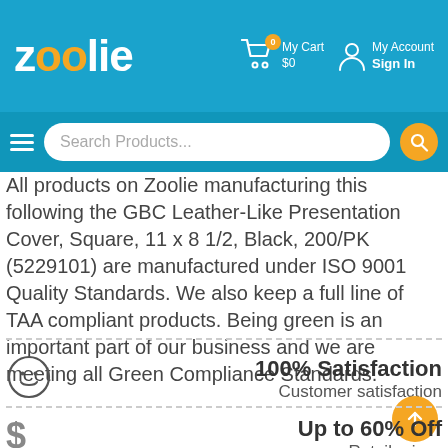[Figure (screenshot): Zoolie e-commerce website header with logo, shopping cart showing My Cart $0, My Account Sign In links, hamburger menu, and Search Products search bar]
All products on Zoolie manufacturing this following the GBC Leather-Like Presentation Cover, Square, 11 x 8 1/2, Black, 200/PK (5229101) are manufactured under ISO 9001 Quality Standards. We also keep a full line of TAA compliant products. Being green is an important part of our business and we are meeting all Green Compliance Standards.
100% Satisfaction
Customer satisfaction
Up to 60% Off
Retail prices